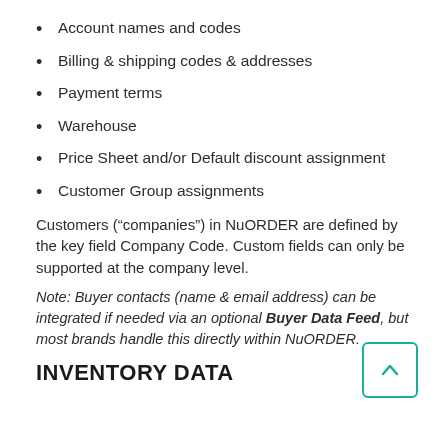Account names and codes
Billing & shipping codes & addresses
Payment terms
Warehouse
Price Sheet and/or Default discount assignment
Customer Group assignments
Customers (“companies”) in NuORDER are defined by the key field Company Code. Custom fields can only be supported at the company level.
Note: Buyer contacts (name & email address) can be integrated if needed via an optional Buyer Data Feed, but most brands handle this directly within NuORDER.
INVENTORY DATA